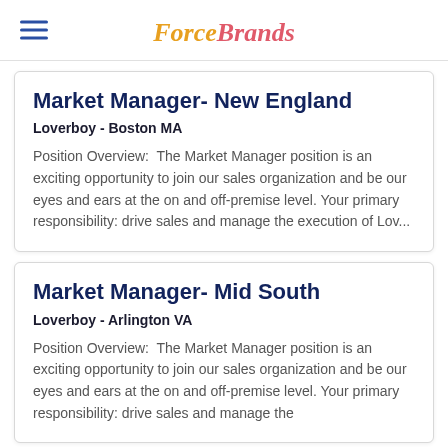ForceBrands
Market Manager- New England
Loverboy - Boston MA
Position Overview:  The Market Manager position is an exciting opportunity to join our sales organization and be our eyes and ears at the on and off-premise level. Your primary responsibility: drive sales and manage the execution of Lov...
Market Manager- Mid South
Loverboy - Arlington VA
Position Overview:  The Market Manager position is an exciting opportunity to join our sales organization and be our eyes and ears at the on and off-premise level. Your primary responsibility: drive sales and manage the